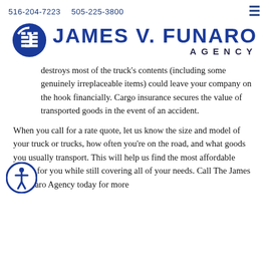516-204-7223   505-225-3800
[Figure (logo): James V. Funaro Agency logo with circular J icon in dark blue and bold text JAMES V. FUNARO AGENCY]
destroys most of the truck's contents (including some genuinely irreplaceable items) could leave your company on the hook financially. Cargo insurance secures the value of transported goods in the event of an accident.
When you call for a rate quote, let us know the size and model of your truck or trucks, how often you're on the road, and what goods you usually transport. This will help us find the most affordable policy for you while still covering all of your needs. Call The James V Funaro Agency today for more